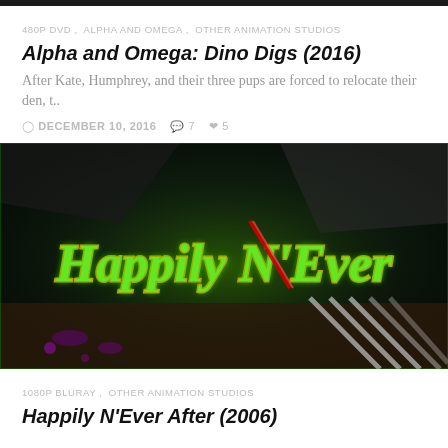480P DVD , ALPHA AND OMEGA , OTHER ANIMATION STUDIOS
Alpha and Omega: Dino Digs (2016)
After Kate, Humphrey, and their three pups are forced to relocate their den, t..
DECEMBER 10, 2016   7   5
[Figure (screenshot): Movie title card for 'Happily N'Ever After' showing glowing green stylized text logo against a dark atmospheric background]
1080P BLURAY , OTHER ANIMATION STUDIOS
Happily N'Ever After (2006)